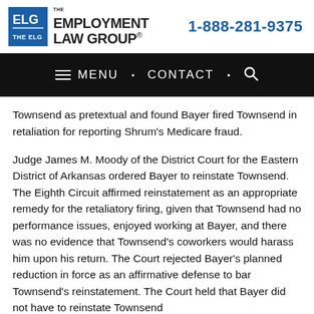[Figure (logo): The Employment Law Group logo with blue square icon containing 'ELG' letters and company name text]
1-888-281-9375
≡ MENU · CONTACT · 🔍
Townsend as pretextual and found Bayer fired Townsend in retaliation for reporting Shrum's Medicare fraud.
Judge James M. Moody of the District Court for the Eastern District of Arkansas ordered Bayer to reinstate Townsend. The Eighth Circuit affirmed reinstatement as an appropriate remedy for the retaliatory firing, given that Townsend had no performance issues, enjoyed working at Bayer, and there was no evidence that Townsend's coworkers would harass him upon his return. The Court rejected Bayer's planned reduction in force as an affirmative defense to bar Townsend's reinstatement. The Court held that Bayer did not have to reinstate Townsend